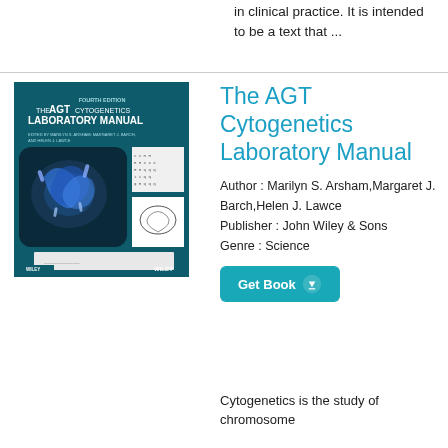in clinical practice. It is intended to be a text that ...
[Figure (photo): Book cover of The AGT Cytogenetics Laboratory Manual, Fourth Edition, showing chromosomes and a karyotype, published by Wiley]
The AGT Cytogenetics Laboratory Manual
Author : Marilyn S. Arsham,Margaret J. Barch,Helen J. Lawce
Publisher : John Wiley & Sons
Genre : Science
Cytogenetics is the study of chromosome